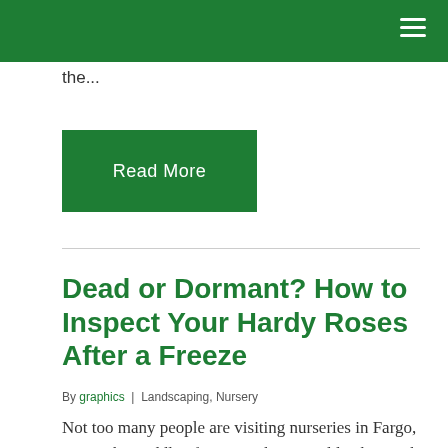the...
Read More
Dead or Dormant? How to Inspect Your Hardy Roses After a Freeze
By graphics | Landscaping, Nursery
Not too many people are visiting nurseries in Fargo, ND in the middle of winter. There wouldn’t be much to see! Most perennials are cut down